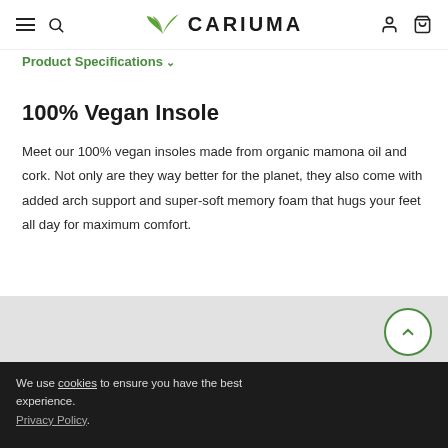CARIUMA navigation bar with hamburger menu, search, logo, user and cart icons
Product Specifications ∨
100% Vegan Insole
Meet our 100% vegan insoles made from organic mamona oil and cork. Not only are they way better for the planet, they also come with added arch support and super-soft memory foam that hugs your feet all day for maximum comfort.
[Figure (photo): Light gray placeholder image area with a green wave/insole shape at the bottom and a scroll-to-top button. A green promotional banner reads: AWAY FOR A CAIPIRINHA]
We use cookies to ensure you have the best experience. Privacy Policy.